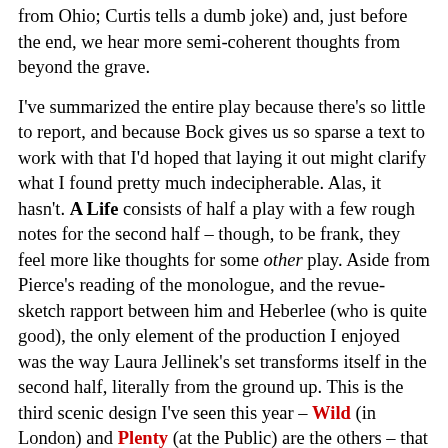from Ohio; Curtis tells a dumb joke) and, just before the end, we hear more semi-coherent thoughts from beyond the grave.
I've summarized the entire play because there's so little to report, and because Bock gives us so sparse a text to work with that I'd hoped that laying it out might clarify what I found pretty much indecipherable. Alas, it hasn't. A Life consists of half a play with a few rough notes for the second half – though, to be frank, they feel more like thoughts for some other play. Aside from Pierce's reading of the monologue, and the revue-sketch rapport between him and Heberlee (who is quite good), the only element of the production I enjoyed was the way Laura Jellinek's set transforms itself in the second half, literally from the ground up. This is the third scenic design I've seen this year – Wild (in London) and Plenty (at the Public) are the others – that relies on the inventive use of stage hydraulics. You might say that the second half of A Life is a set in search of a play.
[Figure (photo): A partial photo of a person's head, showing the top of the head with grey/white hair, cropped at the bottom of the frame.]